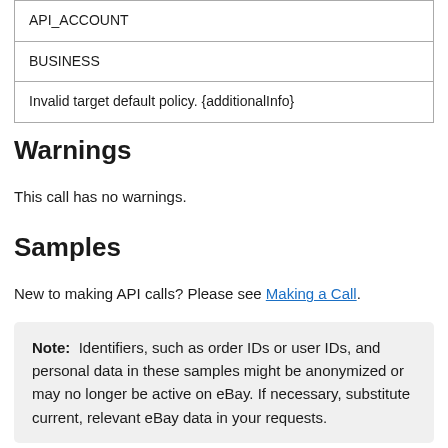| API_ACCOUNT |
| BUSINESS |
| Invalid target default policy. {additionalInfo} |
Warnings
This call has no warnings.
Samples
New to making API calls? Please see Making a Call.
Note: Identifiers, such as order IDs or user IDs, and personal data in these samples might be anonymized or may no longer be active on eBay. If necessary, substitute current, relevant eBay data in your requests.